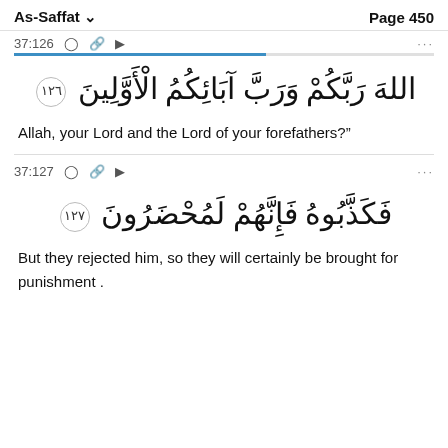As-Saffat   Page 450
37:126
[Figure (other): Arabic Quran verse 37:126 with verse number badge 126]
Allah, your Lord and the Lord of your forefathers?"
37:127
[Figure (other): Arabic Quran verse 37:127 with verse number badge 127]
But they rejected him, so they will certainly be brought for punishment .